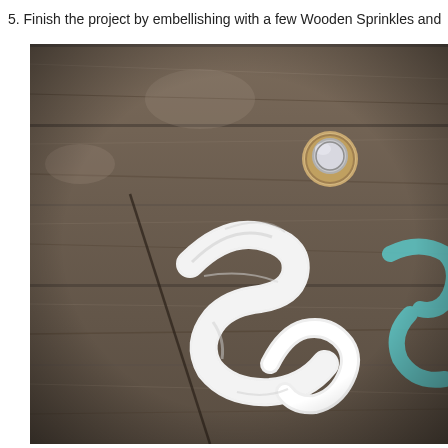5. Finish the project by embellishing with a few Wooden Sprinkles and
[Figure (photo): Close-up photo of a rustic wooden board with white textured letter shapes (appearing to spell something, letters 'S' visible) and teal/turquoise lettering, with a small round wooden embellishment with a glass dome on top, set against weathered grey wood planks.]